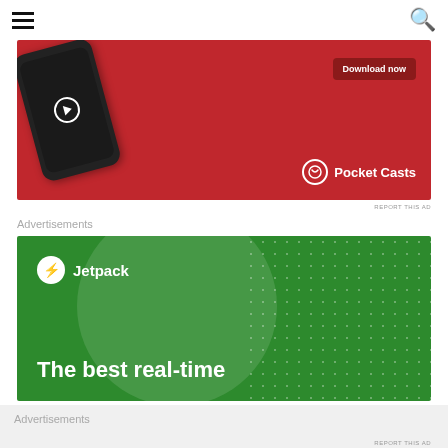≡ [hamburger menu] [search icon]
[Figure (photo): Pocket Casts app advertisement banner on red background showing smartphone with podcast app open, 'Download now' button, and Pocket Casts logo]
REPORT THIS AD
Advertisements
[Figure (photo): Jetpack advertisement banner on green background with circular glow element, Jetpack logo with lightning bolt icon, and tagline 'The best real-time']
Advertisements
REPORT THIS AD